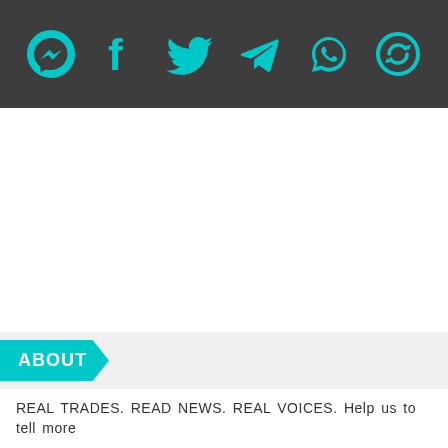[Figure (other): Dark grey social media share bar with six teal icons: Messenger, Facebook, Twitter, Telegram, WhatsApp, and a refresh/share icon]
ABOUT
REAL TRADES. READ NEWS. REAL VOICES. Help us to tell more